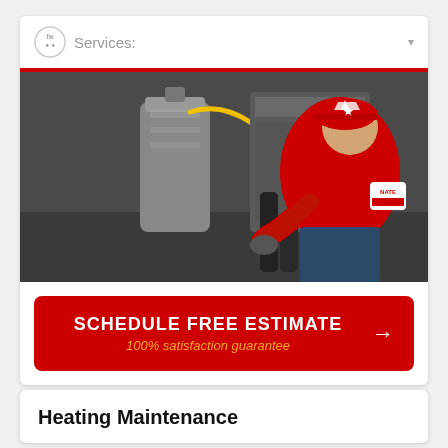Services:
[Figure (photo): A technician in a red uniform and star-branded cap working on heating equipment, bending over pipes near a large gas cylinder.]
SCHEDULE FREE ESTIMATE
100% satisfaction guarantee
Heating Maintenance